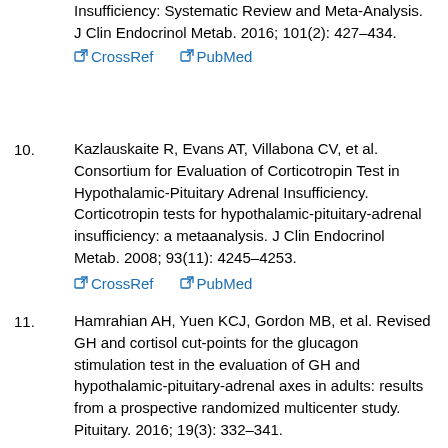Insufficiency: Systematic Review and Meta-Analysis. J Clin Endocrinol Metab. 2016; 101(2): 427–434. CrossRef PubMed
10. Kazlauskaite R, Evans AT, Villabona CV, et al. Consortium for Evaluation of Corticotropin Test in Hypothalamic-Pituitary Adrenal Insufficiency. Corticotropin tests for hypothalamic-pituitary-adrenal insufficiency: a metaanalysis. J Clin Endocrinol Metab. 2008; 93(11): 4245–4253. CrossRef PubMed
11. Hamrahian AH, Yuen KCJ, Gordon MB, et al. Revised GH and cortisol cut-points for the glucagon stimulation test in the evaluation of GH and hypothalamic-pituitary-adrenal axes in adults: results from a prospective randomized multicenter study. Pituitary. 2016; 19(3): 332–341. CrossRef PubMed